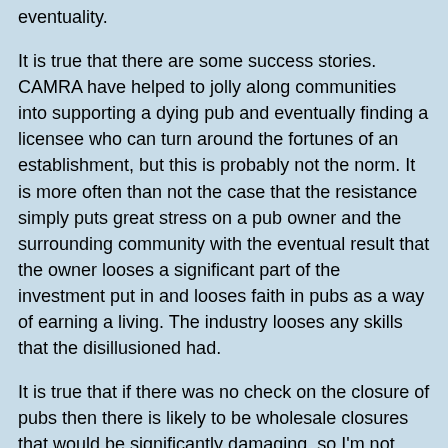eventuality.
It is true that there are some success stories. CAMRA have helped to jolly along communities into supporting a dying pub and eventually finding a licensee who can turn around the fortunes of an establishment, but this is probably not the norm. It is more often than not the case that the resistance simply puts great stress on a pub owner and the surrounding community with the eventual result that the owner looses a significant part of the investment put in and looses faith in pubs as a way of earning a living. The industry looses any skills that the disillusioned had.
It is true that if there was no check on the closure of pubs then there is likely to be wholesale closures that would be significantly damaging, so I'm not suggesting that a fight is never appropriate. We do need to look at the overall effect of fighting lost causes.
A major argument for keeping a particular pub open is that all it needs is "the right management team". The thing is it takes an incredible type of person to run a pub well. It takes an even more incredible type of person, probably with an